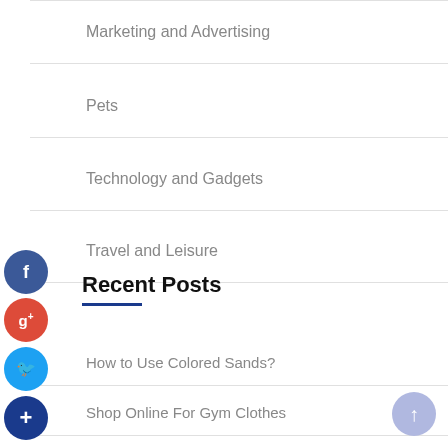Marketing and Advertising
Pets
Technology and Gadgets
Travel and Leisure
Recent Posts
How to Use Colored Sands?
Shop Online For Gym Clothes